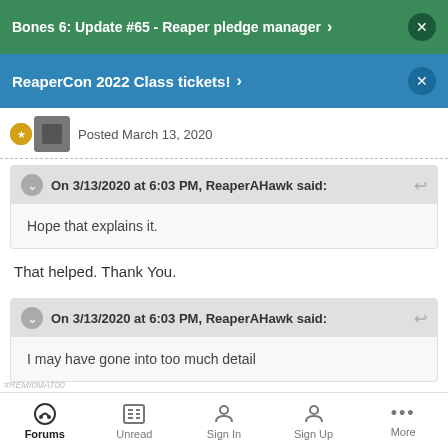Bones 6: Update #65 - Reaper pledge manager
ReaperCon 2022 Class tickets!
Posted March 13, 2020
On 3/13/2020 at 6:03 PM, ReaperAHawk said:
Hope that explains it.
That helped. Thank You.
On 3/13/2020 at 6:03 PM, ReaperAHawk said:
I may have gone into too much detail
Forums  Unread  Sign In  Sign Up  More